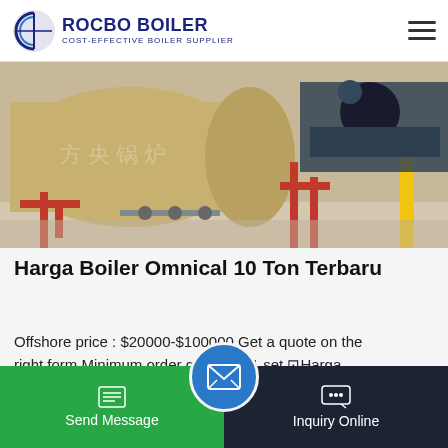ROCBO BOILER COST-EFFECTIVE BOILER SUPPLIER
[Figure (photo): Industrial boiler equipment installed in a factory setting, showing large cylindrical vessels with red piping, valves, and support structures. Chinese text visible on boiler casing.]
Harga Boiler Omnical 10 Ton Terbaru
Offshore price : $20000-$100000 Get a quote on the right form Minimum order quantity : 1 set ⊡Harga Boiler Omnical 10 Ton Terbaru Supply Capacity : 10 units/month ⊡Harga Boiler Omnical 10 Ton Terbaru Manufacturer/Brand : Fangkuai boiler Port : Anyang…
Send Message | Inquiry Online